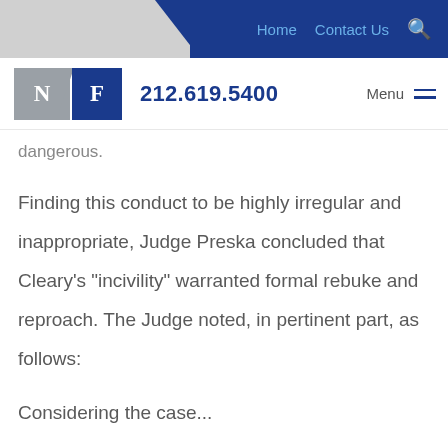[Figure (screenshot): Website navigation bar with Home and Contact Us links and search icon on dark blue background]
[Figure (logo): NF law firm logo with phone number 212.619.5400 and Menu button]
dangerous.
Finding this conduct to be highly irregular and inappropriate, Judge Preska concluded that Cleary's "incivility" warranted formal rebuke and reproach. The Judge noted, in pertinent part, as follows:
Considering the case...